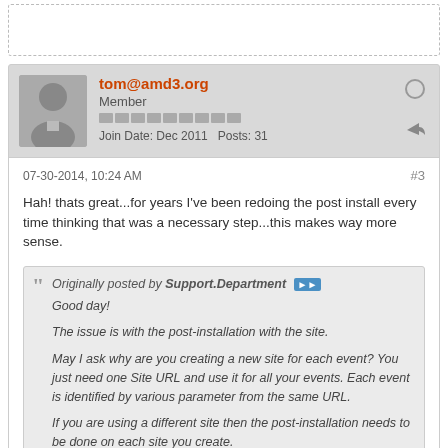[Figure (screenshot): Forum post from user tom@amd3.org]
07-30-2014, 10:24 AM
#3
Hah! thats great...for years I've been redoing the post install every time thinking that was a necessary step...this makes way more sense.
Originally posted by Support.Department  Good day!  The issue is with the post-installation with the site.  May I ask why are you creating a new site for each event? You just need one Site URL and use it for all your events. Each event is identified by various parameter from the same URL.  If you are using a different site then the post-installation needs to be done on each site you create.